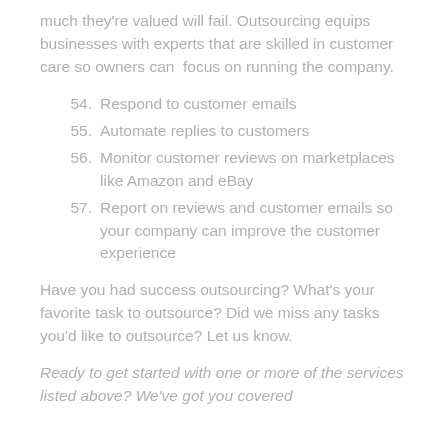much they're valued will fail. Outsourcing equips businesses with experts that are skilled in customer care so owners can  focus on running the company.
54. Respond to customer emails
55. Automate replies to customers
56. Monitor customer reviews on marketplaces like Amazon and eBay
57. Report on reviews and customer emails so your company can improve the customer experience
Have you had success outsourcing? What's your favorite task to outsource? Did we miss any tasks you'd like to outsource? Let us know.
Ready to get started with one or more of the services listed above? We've got you covered